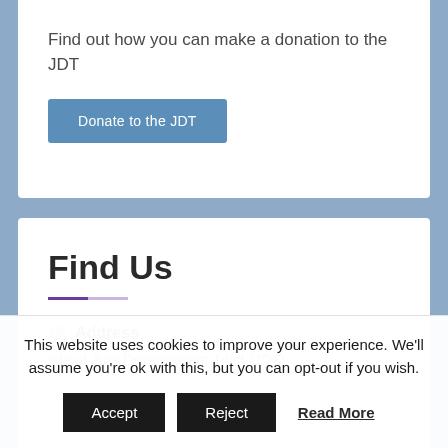Find out how you can make a donation to the JDT
Donate to the JDT
Find Us
Address
Isle of Jura Development Trust (JDT)
This website uses cookies to improve your experience. We'll assume you're ok with this, but you can opt-out if you wish.
Accept
Reject
Read More